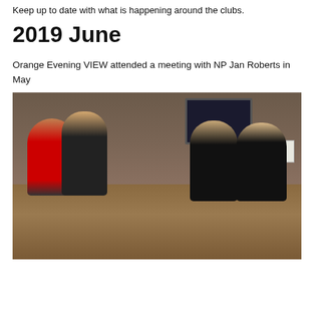Keep up to date with what is happening around the clubs.
2019 June
Orange Evening VIEW attended a meeting with NP Jan Roberts in May
[Figure (photo): Group of women seated around a restaurant/club table, with drinks and food, in a warmly lit venue. Background shows decorative wall art, TV screens, and other patrons.]